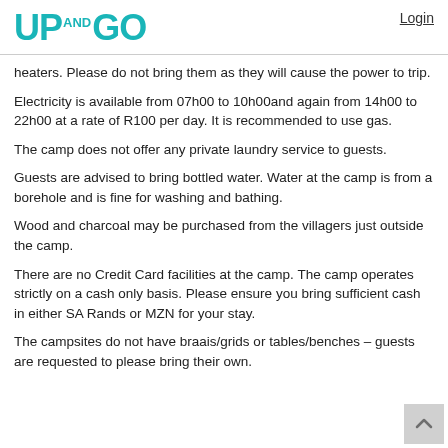UP AND GO | Login
heaters.  Please do not bring them as they will cause the power to trip.
Electricity is available from 07h00 to 10h00and again from 14h00 to 22h00 at a rate of R100 per day.  It is recommended to use gas.
The camp does not offer any private laundry service to guests.
Guests are advised to bring bottled water.  Water at the camp is from a borehole and is fine for washing and bathing.
Wood and charcoal may be purchased from the villagers just outside the camp.
There are no Credit Card facilities at the camp.  The camp operates strictly on a cash only basis. Please ensure you bring sufficient cash in either SA Rands or MZN for your stay.
The campsites do not have braais/grids or tables/benches – guests are requested to please bring their own.